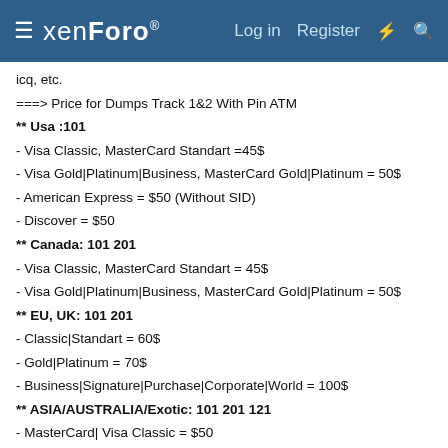xenForo — Log in | Register
icq, etc.
===> Price for Dumps Track 1&2 With Pin ATM
** Usa :101
- Visa Classic, MasterCard Standart =45$
- Visa Gold|Platinum|Business, MasterCard Gold|Platinum = 50$
- American Express = $50 (Without SID)
- Discover = $50
** Canada: 101 201
- Visa Classic, MasterCard Standart = 45$
- Visa Gold|Platinum|Business, MasterCard Gold|Platinum = 50$
** EU, UK: 101 201
- Classic|Standart = 60$
- Gold|Platinum = 70$
- Business|Signature|Purchase|Corporate|World = 100$
** ASIA/AUSTRALIA/Exotic: 101 201 121
- MasterCard| Visa Classic = $50
- Visa Gold|Platinum|Corporate|Signature|Business = $70
** Other countries: 101 201
- MasterCard| Visa Classic = 50$